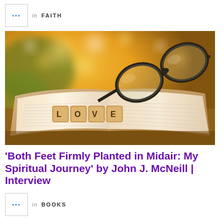in FAITH
[Figure (photo): Open book with Scrabble tiles spelling LOVE on the pages, with eyeglasses resting on the book, warm bokeh background with golden and green tones]
'Both Feet Firmly Planted in Midair: My Spiritual Journey' by John J. McNeill | Interview
in BOOKS